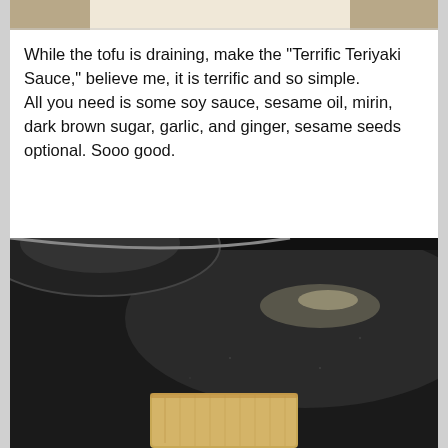[Figure (photo): Top partial photo showing food item being drained, cropped at top of page]
While the tofu is draining, make the "Terrific Teriyaki Sauce," believe me, it is terrific and so simple.
All you need is some soy sauce, sesame oil, mirin, dark brown sugar, garlic, and ginger, sesame seeds optional. Sooo good.
[Figure (photo): Photo of a black non-stick frying pan with a piece of golden-brown tofu at the bottom, with another dark pan visible in the background]